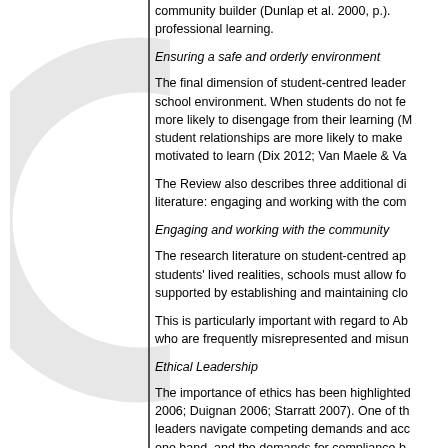community builder (Dunlap et al. 2000, p.). professional learning.
Ensuring a safe and orderly environment
The final dimension of student-centred leadership is ensuring a safe and orderly school environment. When students do not feel safe they are more likely to disengage from their learning (M...). student relationships are more likely to make ... motivated to learn (Dix 2012; Van Maele & Va...).
The Review also describes three additional dimensions found in the literature: engaging and working with the community...
Engaging and working with the community
The research literature on student-centred approaches... students' lived realities, schools must allow fo... supported by establishing and maintaining clo...
This is particularly important with regard to Ab... who are frequently misrepresented and misun...
Ethical Leadership
The importance of ethics has been highlighted... 2006; Duignan 2006; Starratt 2007). One of th... leaders navigate competing demands and acc... one hand, and the demands for compliance b... Cranston, Ehrich & Kimber 2006). The consci... leaders to treat all parties (teachers, students...